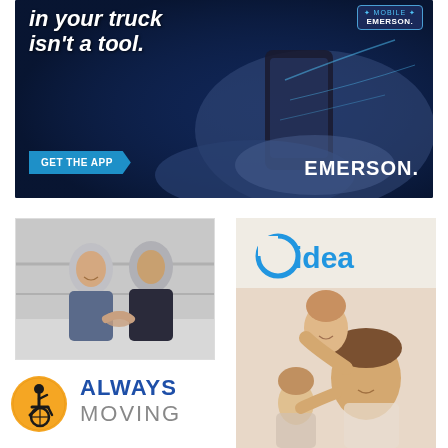[Figure (illustration): Emerson Mobile app advertisement. Dark blue background with a hand holding a smartphone. Text reads 'in your truck isn't a tool.' in white italic. Mobile Emerson badge in top right. 'GET THE APP' button in cyan arrow shape at bottom left. 'EMERSON.' brand name in white at bottom right.]
[Figure (photo): Two men in dark shirts shaking hands in an industrial/warehouse setting. Business handshake image.]
[Figure (illustration): Midea brand advertisement. Light beige background with Midea logo in blue at top. Photo of a mother and children laughing and playing together.]
[Figure (logo): Orange circular wheelchair accessibility icon - person in wheelchair symbol.]
ALWAYS
MOVING